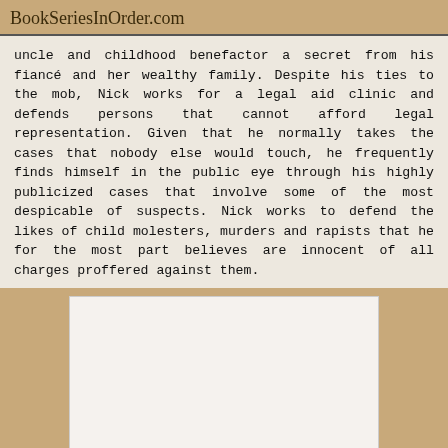BookSeriesInOrder.com
uncle and childhood benefactor a secret from his fiancé and her wealthy family. Despite his ties to the mob, Nick works for a legal aid clinic and defends persons that cannot afford legal representation. Given that he normally takes the cases that nobody else would touch, he frequently finds himself in the public eye through his highly publicized cases that involve some of the most despicable of suspects. Nick works to defend the likes of child molesters, murders and rapists that he for the most part believes are innocent of all charges proffered against them.
[Figure (photo): White/blank rectangular image placeholder area]